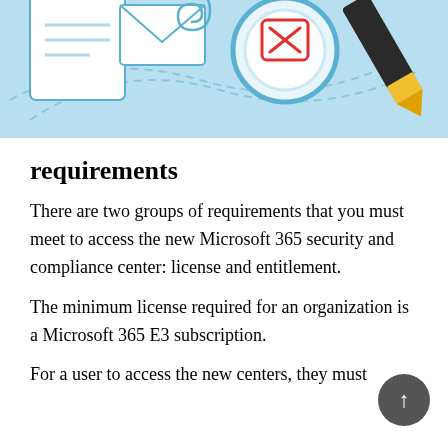[Figure (illustration): Decorative illustration with light blue background showing office/document themed icons: clipboard, envelope with paperclip, magnifying glass with red X, and a marker/highlighter pen.]
requirements
There are two groups of requirements that you must meet to access the new Microsoft 365 security and compliance center: license and entitlement.
The minimum license required for an organization is a Microsoft 365 E3 subscription.
For a user to access the new centers, they must